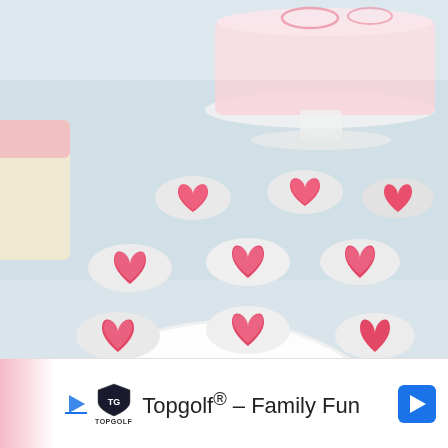[Figure (photo): Close-up photo of heart-shaped pink and white candies/chocolates arranged on a white plate. In the background, a pink-frosted cake on a cake stand and another layered cake are visible. The candies are bite-sized with a pink heart shape on top of a white base.]
Topgolf® – Family Fun